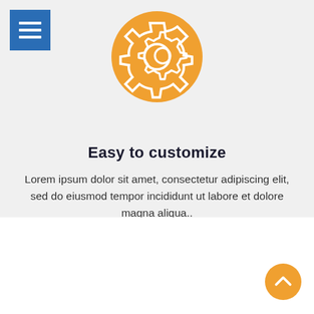[Figure (illustration): Orange circle with white gear/settings icon in the center]
Easy to customize
Lorem ipsum dolor sit amet, consectetur adipiscing elit, sed do eiusmod tempor incididunt ut labore et dolore magna aliqua..
ABOUT US
Lorem ipsum dolor sit amet consectetur adipiscing elit sed do eiusmod tempor incididunt ut labore et dolore magna aliqua..